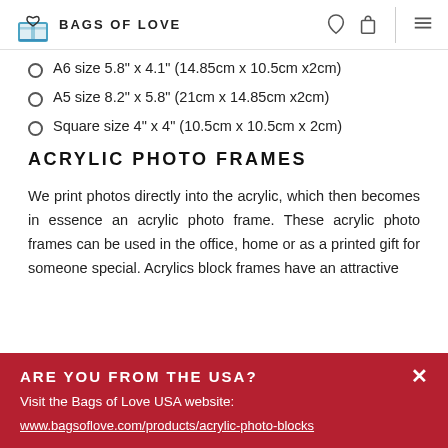BAGS OF LOVE
A6 size 5.8" x 4.1" (14.85cm x 10.5cm x2cm)
A5 size 8.2" x 5.8" (21cm x 14.85cm x2cm)
Square size 4" x 4" (10.5cm x 10.5cm x 2cm)
ACRYLIC PHOTO FRAMES
We print photos directly into the acrylic, which then becomes in essence an acrylic photo frame. These acrylic photo frames can be used in the office, home or as a printed gift for someone special. Acrylics block frames have an attractive
ARE YOU FROM THE USA?
Visit the Bags of Love USA website:
www.bagsoflove.com/products/acrylic-photo-blocks